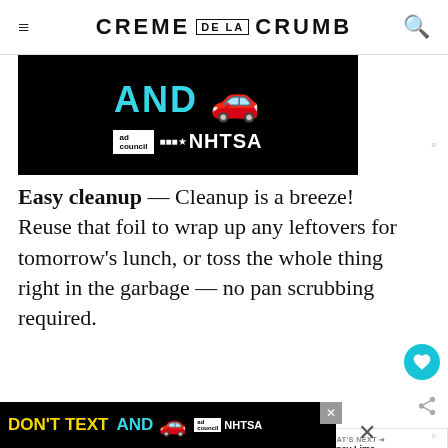CREME DE LA CRUMB
[Figure (photo): Advertisement banner for NHTSA 'Don't Text and Drive' campaign showing cyan text 'AND' and a red car emoji on black background with Ad Council and NHTSA logos]
Easy cleanup — Cleanup is a breeze! Reuse that foil to wrap up any leftovers for tomorrow's lunch, or toss the whole thing right in the garbage — no pan scrubbing required.
Feeds a crew — This salmon easily feeds my family with leftovers. Or it feeds my family and so you know it's good to feed those surprise guests, too.
[Figure (photo): Bottom advertisement banner for NHTSA 'Don't Text and Drive' campaign on black background with yellow and cyan text and red car emoji]